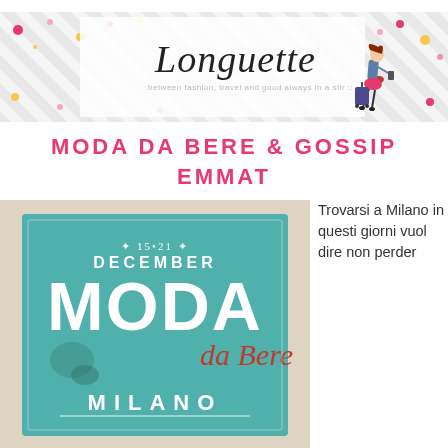[Figure (illustration): Longuette blog banner with diagonal grey stripes, colorful confetti dots, cursive 'Longuette' logo text, and an illustrated woman walking with luggage and a smartphone]
MODA DA BERE & GOSSIP EMMAT
[Figure (illustration): Vintage-style teal/turquoise poster for 'Moda da Bere' event in Milano, December 15-21, with decorative typography]
Trovarsi a Milano in questi giorni vuol dire non perder